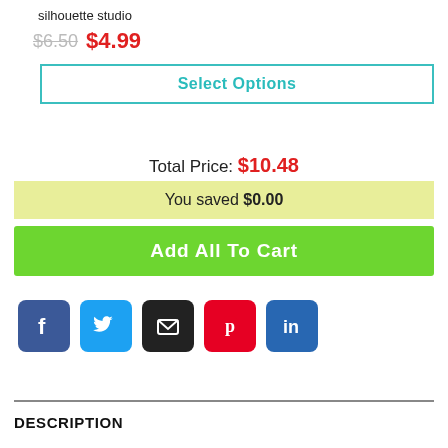silhouette studio
$6.50  $4.99
Select Options
Total Price: $10.48
You saved $0.00
Add All To Cart
[Figure (other): Social sharing icons: Facebook (blue), Twitter (blue), Email (black), Pinterest (red), LinkedIn (blue)]
DESCRIPTION